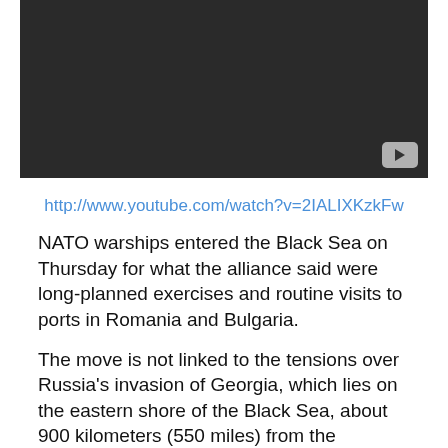[Figure (screenshot): Dark/black video thumbnail with a YouTube play button in the bottom-right corner]
http://www.youtube.com/watch?v=2IALIXKzkFw
NATO warships entered the Black Sea on Thursday for what the alliance said were long-planned exercises and routine visits to ports in Romania and Bulgaria.
The move is not linked to the tensions over Russia’s invasion of Georgia, which lies on the eastern shore of the Black Sea, about 900 kilometers (550 miles) from the Romanian coast, said officials at NATO’s military command in southern Belgium.
Three warships — from Spain, Germany and Poland — sailed into the Black Sea on Thursday. They are also due to...